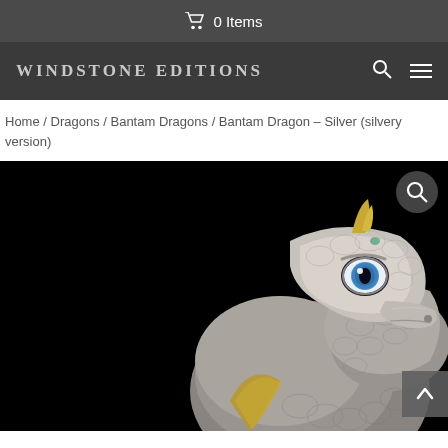🛒 0 Items
WINDSTONE EDITIONS
Home / Dragons / Bantam Dragons / Bantam Dragon – Silver (silvery version)
[Figure (photo): Close-up product photo of a silver Bantam Dragon figurine with blue eye and gold horn accents against a black background]